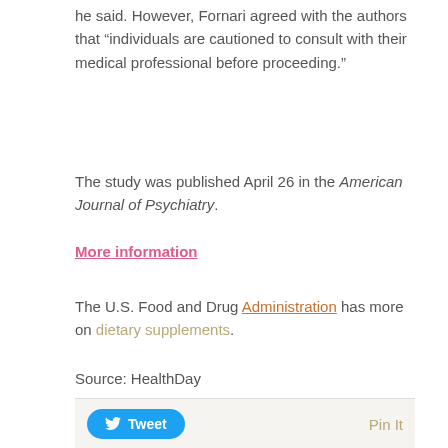he said. However, Fornari agreed with the authors that "individuals are cautioned to consult with their medical professional before proceeding."
The study was published April 26 in the American Journal of Psychiatry.
More information
The U.S. Food and Drug Administration has more on dietary supplements.
Source: HealthDay
[Figure (other): Tweet and Pin It social share buttons bar]
LEAVE A REPLY
Your email address will not be published. Required